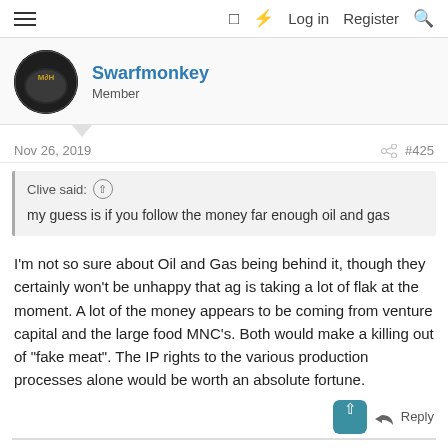≡  □  ⚡  Log in  Register  🔍
Swarfmonkey
Member
Nov 26, 2019   #425
Clive said: ↑
my guess is if you follow the money far enough oil and gas
I'm not so sure about Oil and Gas being behind it, though they certainly won't be unhappy that ag is taking a lot of flak at the moment. A lot of the money appears to be coming from venture capital and the large food MNC's. Both would make a killing out of "fake meat". The IP rights to the various production processes alone would be worth an absolute fortune.
Reply